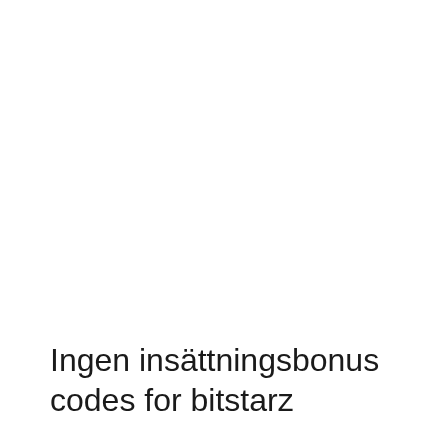Ingen insättningsbonus codes for bitstarz